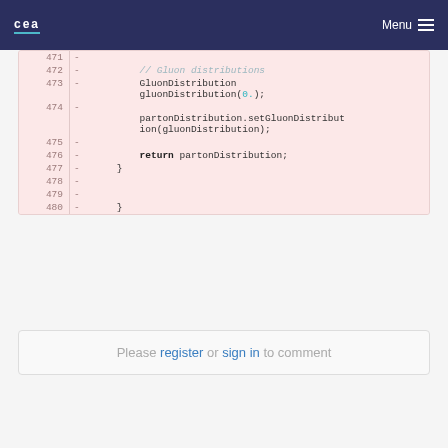CEA — Menu
[Figure (screenshot): Code diff showing lines 471-480 of a C++ source file. Lines show GluonDistribution object creation and partonDistribution.setGluonDistribution call, with line numbers and diff minus markers on pink background.]
Please register or sign in to comment